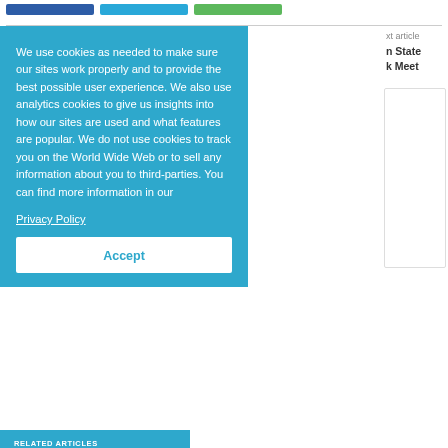[Figure (other): Three colored social sharing buttons: dark blue, light blue, and green]
xt article
n State k Meet
We use cookies as needed to make sure our sites work properly and to provide the best possible user experience. We also use analytics cookies to give us insights into how our sites are used and what features are popular. We do not use cookies to track you on the World Wide Web or to sell any information about you to third-parties. You can find more information in our Privacy Policy
Accept
RELATED ARTICLES